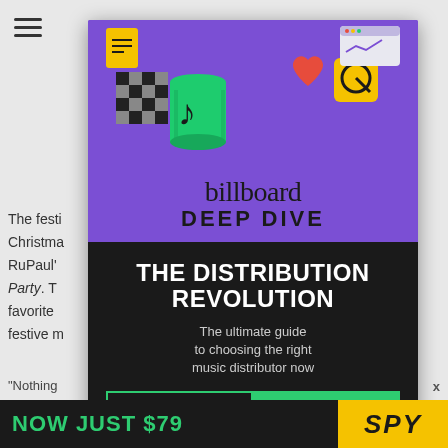[Figure (screenshot): Billboard Deep Dive advertisement overlay on a web article page. Top purple section features TikTok and social media icons illustration with 'billboard DEEP DIVE' text. Black bottom section has 'THE DISTRIBUTION REVOLUTION' headline, subtitle 'The ultimate guide to choosing the right music distributor now', and two CTA buttons: 'FREE DOWNLOAD' and 'GET THE REPORT'. Behind the ad, partial article text is visible. Bottom strip shows 'NOW JUST $79' and 'SPY' logo.]
The festi... of Christmas... to RuPaul'... tmas Party. To... ag Race favorite... me festive m...
billboard DEEP DIVE
THE DISTRIBUTION REVOLUTION
The ultimate guide to choosing the right music distributor now
FREE DOWNLOAD   GET THE REPORT
NOW JUST $79
SPY